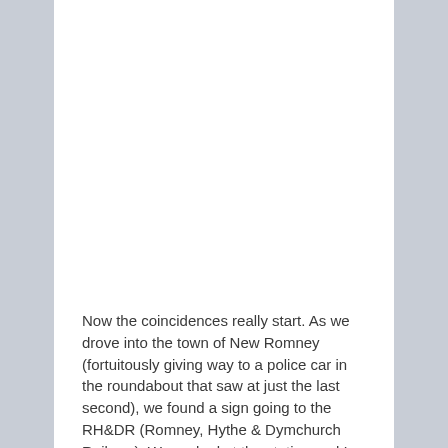Now the coincidences really start. As we drove into the town of New Romney (fortuitously giving way to a police car in the roundabout that saw at just the last second), we found a sign going to the RH&DR (Romney, Hythe & Dymchurch Railway). We parked at the station and I spent half an hour photographing the trains and their steam locomotives. This railway has an amazing history.